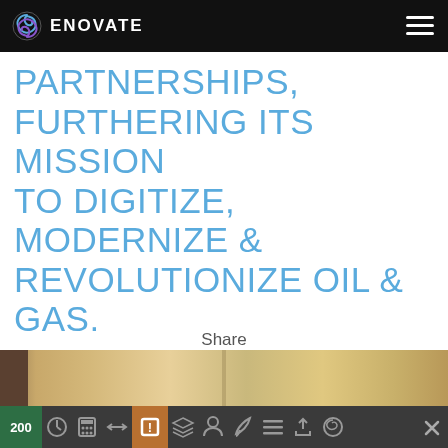ENOVATE
PARTNERSHIPS, FURTHERING ITS MISSION TO DIGITIZE, MODERNIZE & REVOLUTIONIZE OIL & GAS.
Share
[Figure (illustration): Social sharing icons: Twitter (bird icon), LinkedIn (in square), Facebook (f circle), all in blue]
[Figure (photo): Desert landscape photo partially visible at bottom of page]
200 [toolbar with various icons]